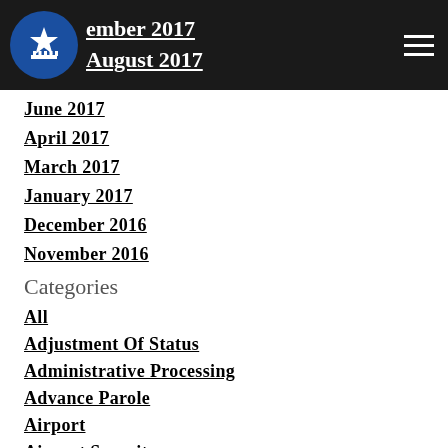ember 2017 / August 2017
June 2017
April 2017
March 2017
January 2017
December 2016
November 2016
Categories
All
Adjustment Of Status
Administrative Processing
Advance Parole
Airport
Airport Security
Background Checks
Biden
Border Control